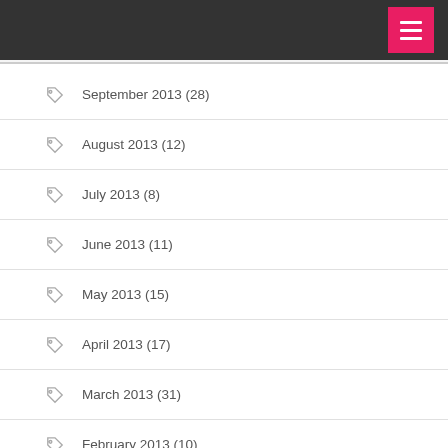Navigation menu header bar
September 2013 (28)
August 2013 (12)
July 2013 (8)
June 2013 (11)
May 2013 (15)
April 2013 (17)
March 2013 (31)
February 2013 (10)